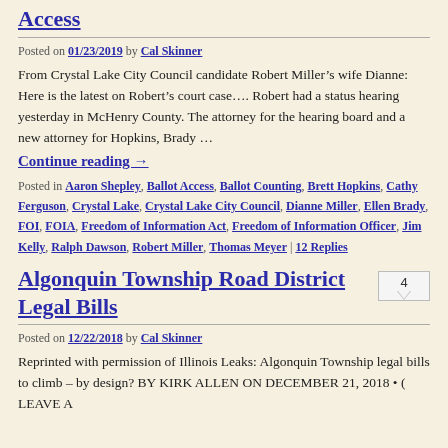Access
Posted on 01/23/2019 by Cal Skinner
From Crystal Lake City Council candidate Robert Miller’s wife Dianne: Here is the latest on Robert’s court case…. Robert had a status hearing yesterday in McHenry County. The attorney for the hearing board and a new attorney for Hopkins, Brady …
Continue reading →
Posted in Aaron Shepley, Ballot Access, Ballot Counting, Brett Hopkins, Cathy Ferguson, Crystal Lake, Crystal Lake City Council, Dianne Miller, Ellen Brady, FOI, FOIA, Freedom of Information Act, Freedom of Information Officer, Jim Kelly, Ralph Dawson, Robert Miller, Thomas Meyer | 12 Replies
Algonquin Township Road District Legal Bills
Posted on 12/22/2018 by Cal Skinner
Reprinted with permission of Illinois Leaks: Algonquin Township legal bills to climb – by design? BY KIRK ALLEN ON DECEMBER 21, 2018 • ( LEAVE A